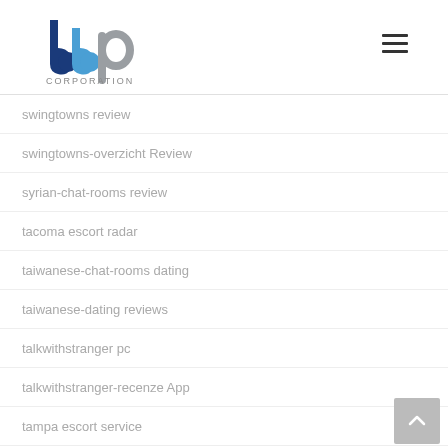[Figure (logo): BBP Corporation logo — stylized blue and grey letters 'bbp' with 'CORPORATION' text below]
swingtowns review
swingtowns-overzicht Review
syrian-chat-rooms review
tacoma escort radar
taiwanese-chat-rooms dating
taiwanese-dating reviews
talkwithstranger pc
talkwithstranger-recenze App
tampa escort service